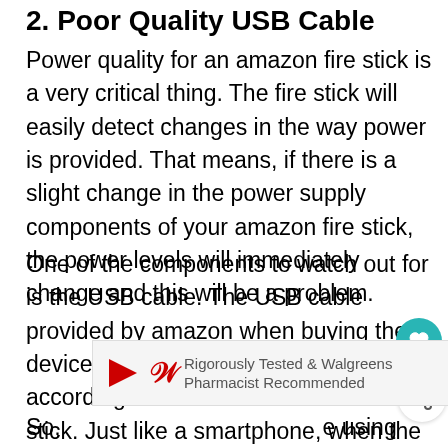2. Poor Quality USB Cable
Power quality for an amazon fire stick is a very critical thing. The fire stick will easily detect changes in the way power is provided. That means, if there is a slight change in the power supply components of your amazon fire stick, the power levels will immediately change and this will be a problem.
One of the components to watch out for is the USB cable. The USB cable provided by amazon when buying the device is specially designed and built according to the features of the fire stick. Just like a smartphone, when the cable does not work well, there will be issues with the connection.
[Figure (other): Advertisement banner for Walgreens - Rigorously Tested & Walgreens Pharmacist Recommended]
So, ...e using